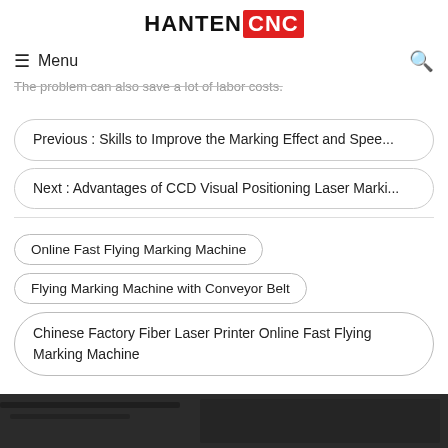HANTEN CNC
≡ Menu  🔍
The problem can also save a lot of labor costs.
Previous : Skills to Improve the Marking Effect and Spee...
Next : Advantages of CCD Visual Positioning Laser Marki...
Online Fast Flying Marking Machine
Flying Marking Machine with Conveyor Belt
Chinese Factory Fiber Laser Printer Online Fast Flying Marking Machine
[Figure (photo): Dark background industrial/machine photo at bottom of page]